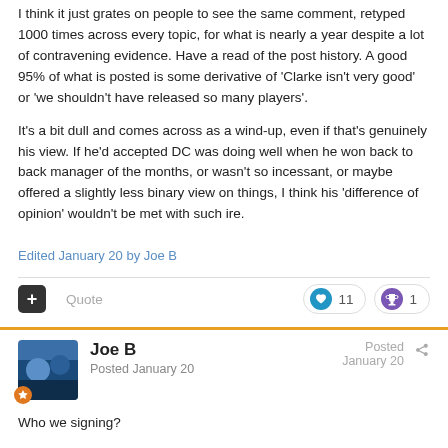I think it just grates on people to see the same comment, retyped 1000 times across every topic, for what is nearly a year despite a lot of contravening evidence. Have a read of the post history. A good 95% of what is posted is some derivative of 'Clarke isn't very good' or 'we shouldn't have released so many players'.
It's a bit dull and comes across as a wind-up, even if that's genuinely his view. If he'd accepted DC was doing well when he won back to back manager of the months, or wasn't so incessant, or maybe offered a slightly less binary view on things, I think his 'difference of opinion' wouldn't be met with such ire.
Edited January 20 by Joe B
Quote
11
1
Joe B
Posted January 20
Posted January 20
Who we signing?